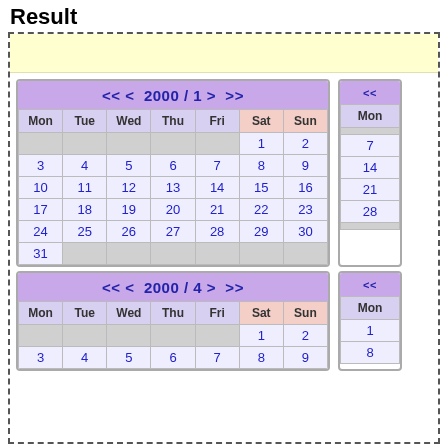Result
[Figure (screenshot): Calendar widget showing 2000/1 (January 2000) and 2000/4 (April 2000) calendars inside a dashed border box, with yellow header bar. Each calendar shows Mon-Sun columns with dates in blue on light purple/grey backgrounds.]